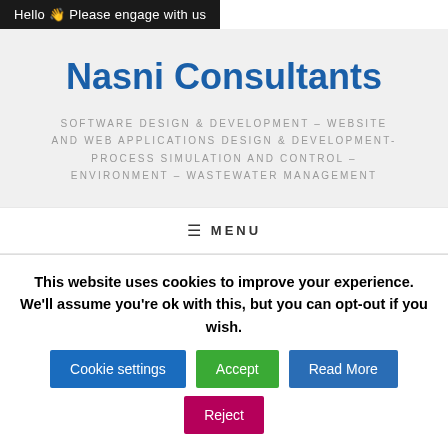Hello 👆 Please engage with us
Nasni Consultants
SOFTWARE DESIGN & DEVELOPMENT - WEBSITE AND WEB APPLICATIONS DESIGN & DEVELOPMENT- PROCESS SIMULATION AND CONTROL - ENVIRONMENT - WASTEWATER MANAGEMENT
≡ MENU
This website uses cookies to improve your experience. We'll assume you're ok with this, but you can opt-out if you wish.
Cookie settings
Accept
Read More
Reject